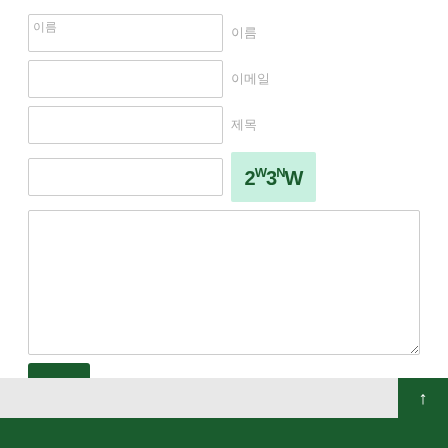[Figure (screenshot): Web form with multiple text input fields, a CAPTCHA image showing '2W3NW', a large textarea, a submit button, and a link. Below the form is a gray footer bar with a dark green scroll-to-top button and a dark green bottom strip.]